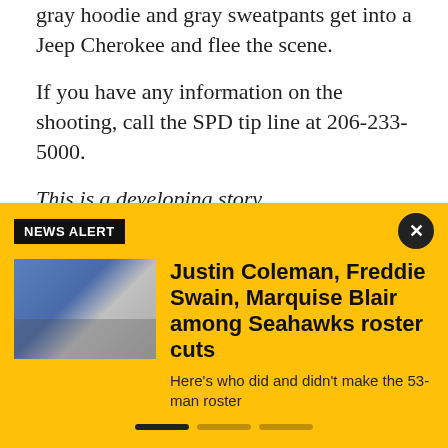gray hoodie and gray sweatpants get into a Jeep Cherokee and flee the scene.
If you have any information on the shooting, call the SPD tip line at 206-233-5000.
This is a developing story.
FOX 13 will have information as it becomes available.
Get breaking news alerts in the FREE FOX 13 Seattle
[Figure (screenshot): NEWS ALERT overlay on yellow/gold background featuring a photo of a Seahawks player and headline: Justin Coleman, Freddie Swain, Marquise Blair among Seahawks roster cuts. Subtext: Here's who did and didn't make the 53-man roster. Includes close button and pagination dots.]